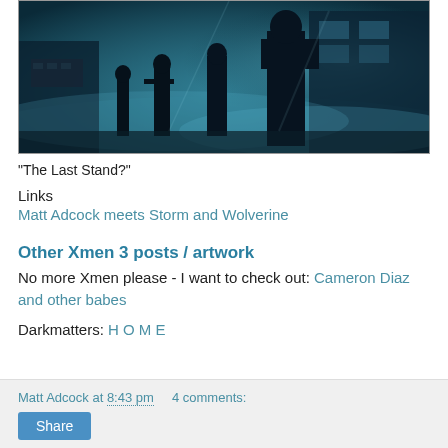[Figure (photo): Dark moody scene showing silhouettes of several figures standing in a foggy, blue-tinted industrial or warehouse environment. Appears to be a still from an X-Men movie.]
"The Last Stand?"
Links
Matt Adcock meets Storm and Wolverine
Other Xmen 3 posts / artwork
No more Xmen please - I want to check out: Cameron Diaz and other babes
Darkmatters: H O M E
Matt Adcock at 8:43 pm    4 comments:  Share